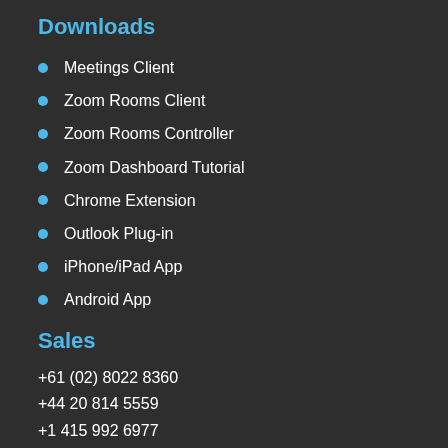Downloads
Meetings Client
Zoom Rooms Client
Zoom Rooms Controller
Zoom Dashboard Tutorial
Chrome Extension
Outlook Plug-in
iPhone/iPad App
Android App
Sales
+61 (02) 8022 8360
+44 20 814 5559
+1 415 992 6977
Shop